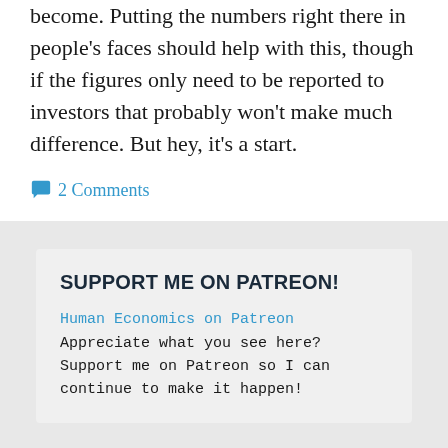become. Putting the numbers right there in people's faces should help with this, though if the figures only need to be reported to investors that probably won't make much difference. But hey, it's a start.
2 Comments
SUPPORT ME ON PATREON!
Human Economics on Patreon Appreciate what you see here? Support me on Patreon so I can continue to make it happen!